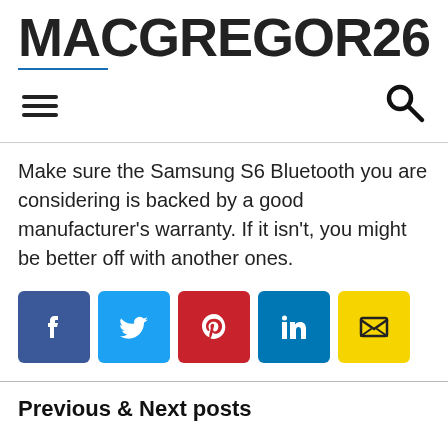MACGREGOR26
Make sure the Samsung S6 Bluetooth you are considering is backed by a good manufacturer's warranty. If it isn't, you might be better off with another ones.
[Figure (other): Social share buttons: Facebook, Twitter, Pinterest, LinkedIn, Email]
Previous & Next posts